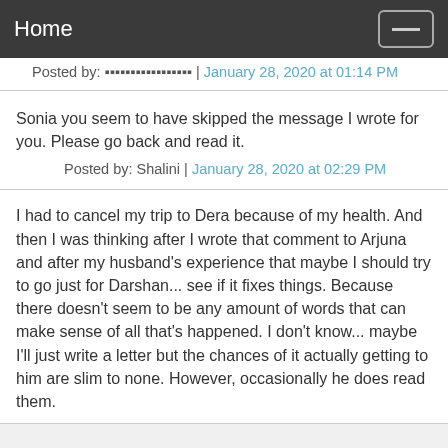Home
Posted by: ▪▪▪▪▪▪▪▪▪▪▪▪▪▪▪▪▪ | January 28, 2020 at 01:14 PM
Sonia you seem to have skipped the message I wrote for you. Please go back and read it.
Posted by: Shalini | January 28, 2020 at 02:29 PM
I had to cancel my trip to Dera because of my health. And then I was thinking after I wrote that comment to Arjuna and after my husband's experience that maybe I should try to go just for Darshan... see if it fixes things. Because there doesn't seem to be any amount of words that can make sense of all that's happened. I don't know... maybe I'll just write a letter but the chances of it actually getting to him are slim to none. However, occasionally he does read them.